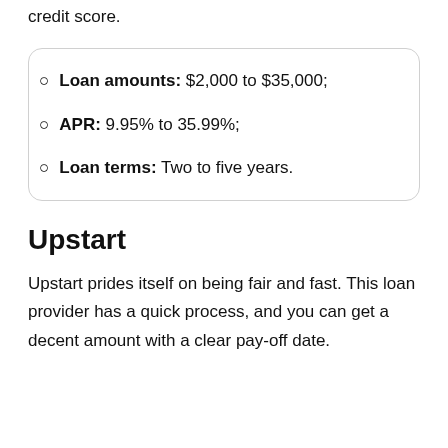pay off loans and other debt to help improve your credit score.
Loan amounts: $2,000 to $35,000;
APR: 9.95% to 35.99%;
Loan terms: Two to five years.
Upstart
Upstart prides itself on being fair and fast. This loan provider has a quick process, and you can get a decent amount with a clear pay-off date.